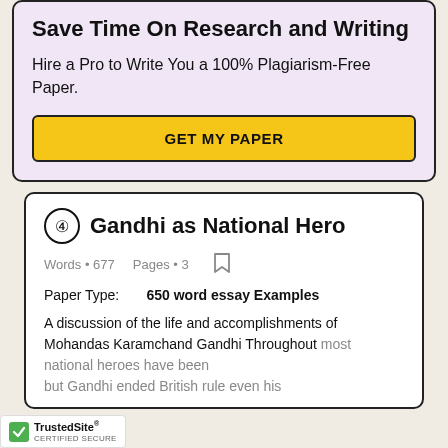Save Time On Research and Writing
Hire a Pro to Write You a 100% Plagiarism-Free Paper.
GET MY PAPER
4 Gandhi as National Hero
Words • 677    Pages • 3
Paper Type:    650 word essay Examples
A discussion of the life and accomplishments of Mohandas Karamchand Gandhi Throughout most national heroes have been but Gandhi ended British rule even his